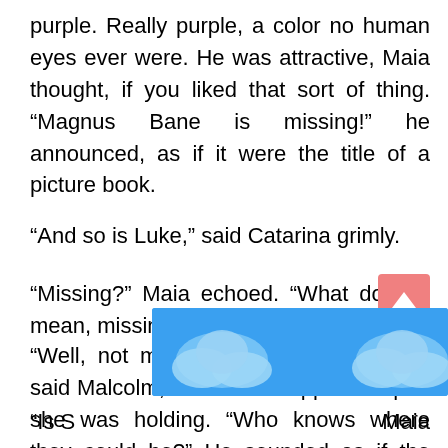purple. Really purple, a color no human eyes ever were. He was attractive, Maia thought, if you liked that sort of thing. “Magnus Bane is missing!” he announced, as if it were the title of a picture book.
“And so is Luke,” said Catarina grimly.
“Missing?” Maia echoed. “What do you mean, missing?”
“Well, not missing exactly. Kidnapped,” said Malcolm, and Maia dropped the pen she was holding. “Who knows where they could be?” He sounded as if the whole thing was rather exciting and he was sad not to be a greater part of it.
“Is S[obscured] Maia [obscured]
[Figure (illustration): A blue sky with white clouds banner/advertisement overlay covering part of the text at the bottom of the page, with a pink scroll-to-top button in the bottom right corner.]